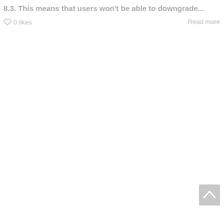8.3. This means that users won't be able to downgrade...
0 likes
Read more
[Figure (other): Scroll-to-top button with upward chevron arrow on grey background]